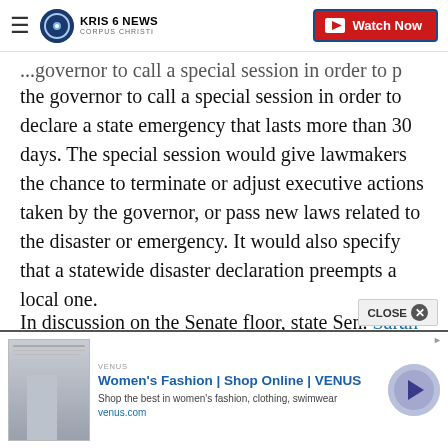KRIS 6 NEWS CORPUS CHRISTI — Watch Now
the governor to call a special session in order to declare a state emergency that lasts more than 30 days. The special session would give lawmakers the chance to terminate or adjust executive actions taken by the governor, or pass new laws related to the disaster or emergency. It would also specify that a statewide disaster declaration preempts a local one.
In discussion on the Senate floor, state Sen. Sarah Eckhardt, D-Austin, who previously served as Travis County judge, expressed concern that the Legislatu
[Figure (screenshot): Advertisement banner: Women's Fashion | Shop Online | VENUS — venus.com]